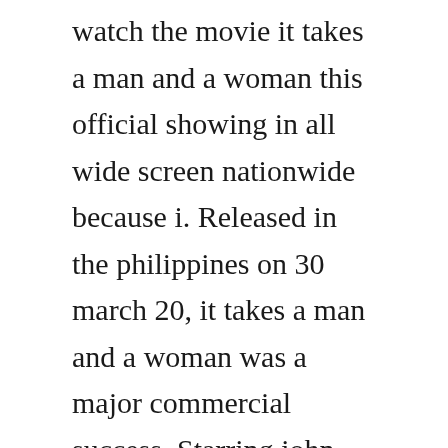watch the movie it takes a man and a woman this official showing in all wide screen nationwide because i. Released in the philippines on 30 march 20, it takes a man and a woman was a major commercial success. Starring john lloyd cruz and sarah geronimo directed by cathy garciamolina subscribe to the abscbn. It takes a man and a woman dvd international edition. We have no control over the content of these pages. It takes a man a nd a woman is a 20 filipino romanticcomedy movie starring john lloyd